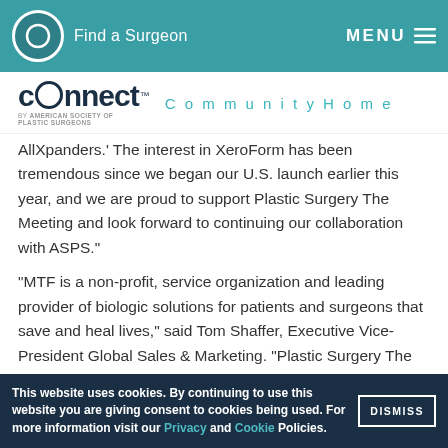Find a Surgeon   MENU
[Figure (logo): Connect by American Society of Plastic Surgeons logo with Community Home link]
AllXpanders.' The interest in XeroForm has been tremendous since we began our U.S. launch earlier this year, and we are proud to support Plastic Surgery The Meeting and look forward to continuing our collaboration with ASPS."
"MTF is a non-profit, service organization and leading provider of biologic solutions for patients and surgeons that save and heal lives," said Tom Shaffer, Executive Vice-President Global Sales & Marketing. "Plastic Surgery The Meeting is a unique opportunity for MTF to increase awareness and showcase our reconstructive and cosmetic offerings such as acellular dermal matrices, cartilage, adipose
This website uses cookies. By continuing to use this website you are giving consent to cookies being used. For more information visit our Privacy and Cookie Policies.